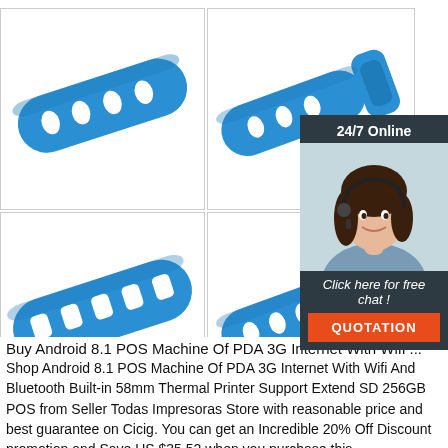[Figure (photo): Four product images of blue silicone wristbands/bracelets with holes, arranged in a 2x2 grid. Top-left: close-up of blue wristband with oval holes. Top-right: blue wristband with buckle end, partially overlapped by chat widget. Bottom-left: another angle of blue wristband with square/oval holes. Bottom-right: blue wristband buckle end, partially overlapped by chat widget.]
[Figure (infographic): 24/7 Online chat widget with dark background, photo of smiling woman with headset, 'Click here for free chat!' text, and orange QUOTATION button.]
Buy Android 8.1 POS Machine Of PDA 3G Internet With Wifi ...
Shop Android 8.1 POS Machine Of PDA 3G Internet With Wifi And Bluetooth Built-in 58mm Thermal Printer Support Extend SD 256GB POS from Seller Todas Impresoras Store with reasonable price and best guarantee on Cicig. You can get an Incredible 20% Off Discount promotion and Save US $35.52 when you purchase this